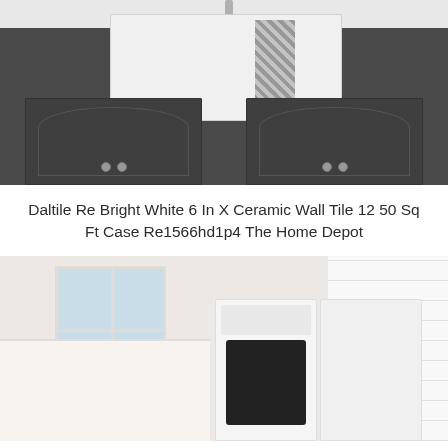[Figure (photo): Kitchen or utility room with dark gray cabinets, a white apron-front farmhouse sink, chrome faucet, and a patterned chevron towel hanging from the sink front. White countertop visible at top.]
Daltile Re Bright White 6 In X Ceramic Wall Tile 12 50 Sq Ft Case Re1566hd1p4 The Home Depot
[Figure (photo): Laundry room with white tile walls, a large window with natural light, white washer and dryer appliances, wood-topped storage cabinets, a small plant, and stacked towels visible on the left.]